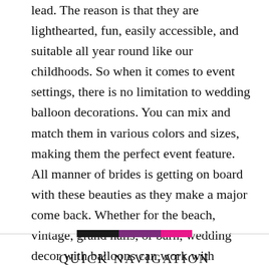lead. The reason is that they are lighthearted, fun, easily accessible, and suitable all year round like our childhoods. So when it comes to event settings, there is no limitation to wedding balloon decorations. You can mix and match them in various colors and sizes, making them the perfect event feature. All manner of brides is getting on board with these beauties as they make a major come back. Whether for the beach, vintage, grand halls, or barn, wedding decor with balloons can work with accents, blooms, or as stunning backdrops. The best part is that they don't cost so much. So explore your balloon dreams with our fun balloon wedding ideas.
[Figure (other): Decorative horizontal divider with three colored bars: black, purple, and pink/magenta]
QUICK NAVIGATION